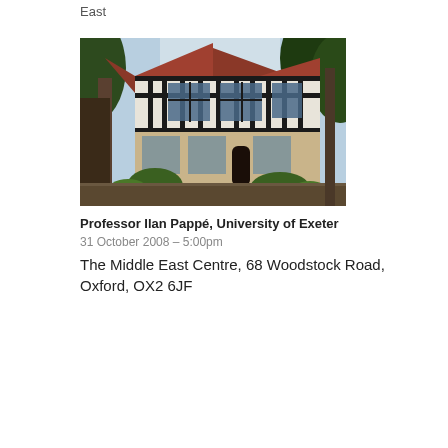East
[Figure (photo): A Tudor-style building with black timber framing and white plaster infill on the upper storey, stone brick on the lower level, red-tiled roofs, large multi-pane windows, surrounded by tall trees and garden shrubs. This is the Middle East Centre at 68 Woodstock Road, Oxford.]
Professor Ilan Pappé, University of Exeter
31 October 2008 – 5:00pm
The Middle East Centre, 68 Woodstock Road, Oxford, OX2 6JF